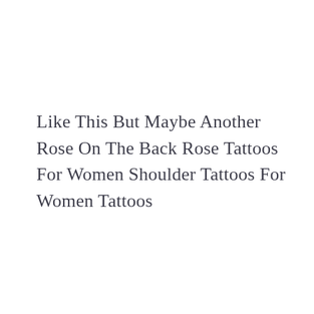Like This But Maybe Another Rose On The Back Rose Tattoos For Women Shoulder Tattoos For Women Tattoos